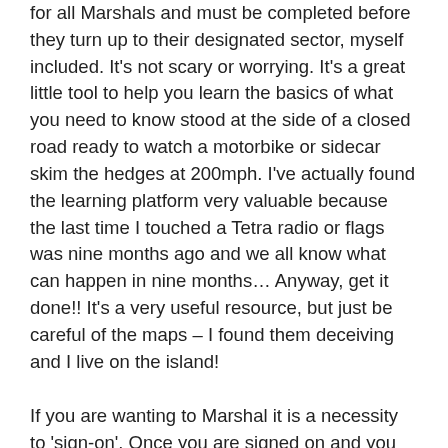for all Marshals and must be completed before they turn up to their designated sector, myself included. It's not scary or worrying. It's a great little tool to help you learn the basics of what you need to know stood at the side of a closed road ready to watch a motorbike or sidecar skim the hedges at 200mph. I've actually found the learning platform very valuable because the last time I touched a Tetra radio or flags was nine months ago and we all know what can happen in nine months… Anyway, get it done!! It's a very useful resource, but just be careful of the maps – I found them deceiving and I live on the island!
If you are wanting to Marshal it is a necessity to 'sign-on'. Once you are signed on and you have collected your pack which includes your warrant card, discounts, and some other little goodies. You will also receive e-mails about attending the Marshal's supper and other various events which are restricted to Marshal's only. Previously there have been evenings with John McGuinness and various other racers which you can attend free of charge, but they change from year-to-year. I guess it's how the racers can give a little back, think of it as a pat on the back! Once you